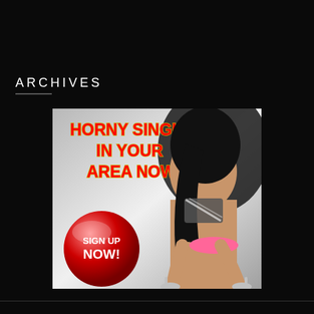ARCHIVES
[Figure (illustration): Advertisement banner with text 'HORNY SINGLES IN YOUR AREA NOW!' in red bold letters with yellow outline, a red glossy button saying 'SIGN UP NOW!', and a woman posing in the right portion of the image on a gray gradient background.]